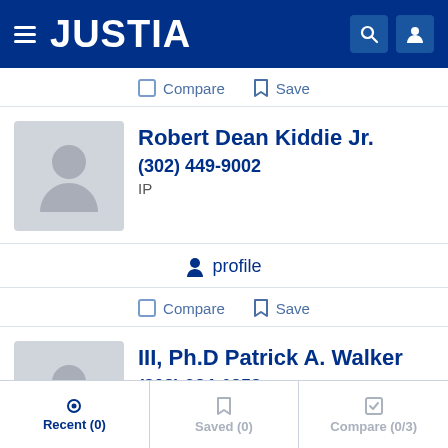JUSTIA
Compare  Save
Robert Dean Kiddie Jr.
(302) 449-9002
IP
profile
Compare  Save
III, Ph.D Patrick A. Walker
(302) 984-6358
IP
Recent (0)  Saved (0)  Compare (0/3)